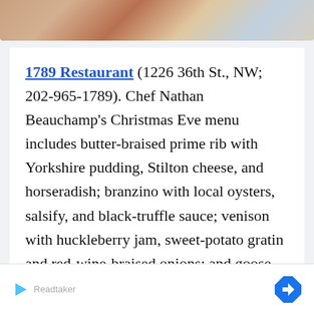[Figure (photo): Top portion of a restaurant dining scene showing plates and wine glasses on a table]
1789 Restaurant (1226 36th St., NW; 202-965-1789). Chef Nathan Beauchamp's Christmas Eve menu includes butter-braised prime rib with Yorkshire pudding, Stilton cheese, and horseradish; branzino with local oysters, salsify, and black-truffle sauce; venison with huckleberry jam, sweet-potato gratin and red-wine-braised onions; and goose with chestnuts, arrowhead cabbage, currants, and black truffles. All items à la carte. The six dining rooms will be decked out with greenery, candles, antique toys, and carolers from the
[Figure (screenshot): Advertisement bar at the bottom of the page with a play button icon on the left and a navigation/directions arrow icon on the right]